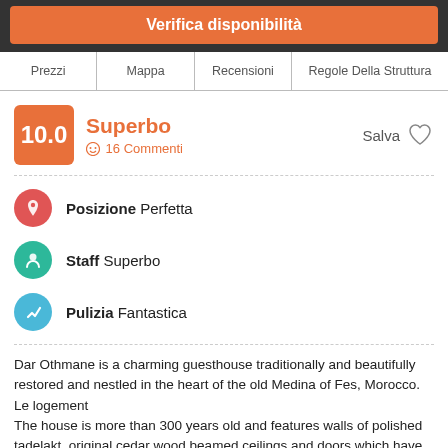Verifica disponibilità
Prezzi
Mappa
Recensioni
Regole Della Struttura
Superbo
16 Commenti
Salva
Posizione Perfetta
Staff Superbo
Pulizia Fantastica
Dar Othmane is a charming guesthouse traditionally and beautifully restored and nestled in the heart of the old Medina of Fes, Morocco. Le logement
The house is more than 300 years old and features walls of polished tadelakt, original cedar wood beamed ceilings and doors which have been restored beautifully. All the furniture has been made by local craftsmen. The central courtyard is decorated with ornate zellig tiles